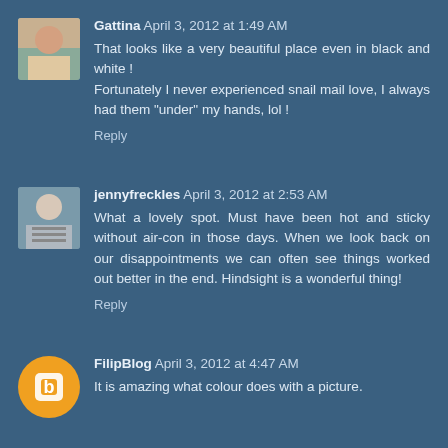Gattina April 3, 2012 at 1:49 AM
That looks like a very beautiful place even in black and white ! Fortunately I never experienced snail mail love, I always had them "under" my hands, lol !
Reply
jennyfreckles April 3, 2012 at 2:53 AM
What a lovely spot. Must have been hot and sticky without air-con in those days. When we look back on our disappointments we can often see things worked out better in the end. Hindsight is a wonderful thing!
Reply
FilipBlog April 3, 2012 at 4:47 AM
It is amazing what colour does with a picture.